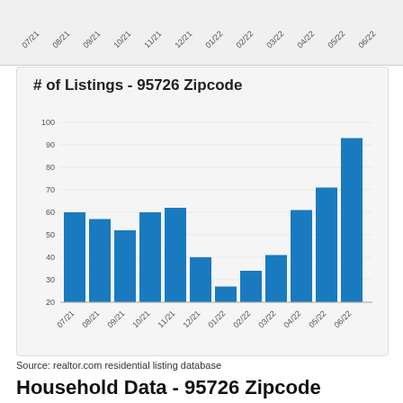[Figure (bar-chart): # of Listings - 95726 Zipcode]
Source: realtor.com residential listing database
Household Data - 95726 Zipcode